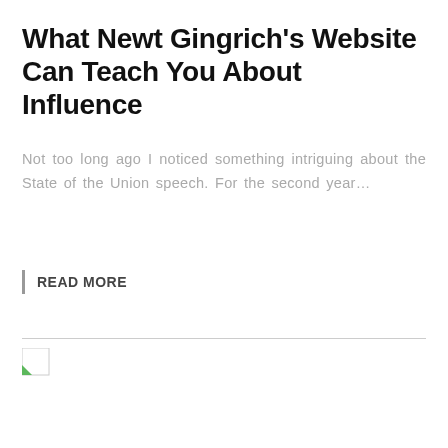What Newt Gingrich’s Website Can Teach You About Influence
Not too long ago I noticed something intriguing about the State of the Union speech. For the second year…
READ MORE
[Figure (other): Broken image placeholder icon with a small green triangle in the lower-left corner, positioned below a horizontal divider line]